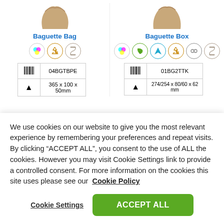[Figure (photo): Partial view of two baguette bag/box product images (cropped at top)]
Baguette Bag
[Figure (infographic): Three circular icons: color print, recycling, hourglass]
| [barcode] | 04BGTBPE |
| [size] | 365 x 100 x 50mm |
Baguette Box
[Figure (infographic): Six circular icons: color print, green leaf, blue arrow, recycling, infinity/cloud, hourglass]
| [barcode] | 01BG2TTK |
| [size] | 274/254 x 80/60 x 62 mm |
We use cookies on our website to give you the most relevant experience by remembering your preferences and repeat visits. By clicking “ACCEPT ALL”, you consent to the use of ALL the cookies. However you may visit Cookie Settings link to provide a controlled consent. For more information on the cookies this site uses please see our  Cookie Policy
Cookie Settings
ACCEPT ALL